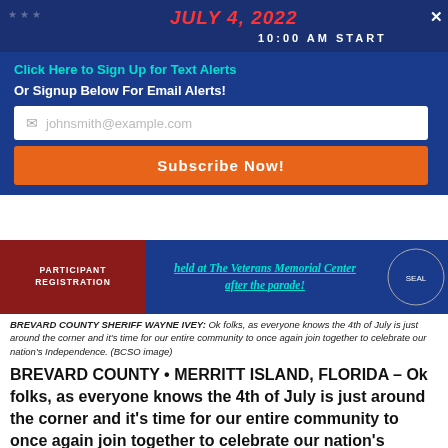[Figure (screenshot): Banner with date and 10:00 AM START text on dark blue background with stars, with a close X button]
Click Here to Sign Up for Text Alerts
Or Signup Below For Email Alerts!
[Figure (screenshot): Email input field with placeholder johnsmith@example.com and a Subscribe Now! orange button]
[Figure (screenshot): Banner showing PARTICIPANT REGISTRATION on left and 'held at The Veterans Memorial Center after the parade!' on right]
BREVARD COUNTY SHERIFF WAYNE IVEY: Ok folks, as everyone knows the 4th of July is just around the corner and it's time for our entire community to once again join together to celebrate our nation's Independence. (BCSO image)
BREVARD COUNTY • MERRITT ISLAND, FLORIDA – Ok folks, as everyone knows the 4th of July is just around the corner and it's time for our entire community to once again join together to celebrate our nation's Independence.